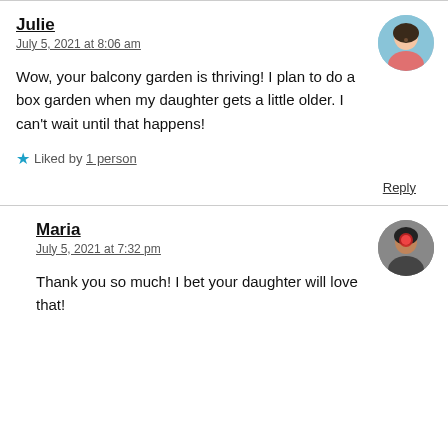Julie
July 5, 2021 at 8:06 am
Wow, your balcony garden is thriving! I plan to do a box garden when my daughter gets a little older. I can't wait until that happens!
Liked by 1 person
Reply
Maria
July 5, 2021 at 7:32 pm
Thank you so much! I bet your daughter will love that!